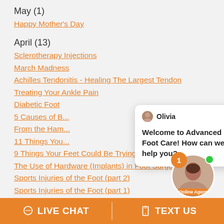May (1)
Happy Mother's Day
April (13)
Sclerotherapy Injections
March Madness
Achilles Tendonitis - Healing The Largest Tendon
Treating Your Ankle Pain
Diabetic Foot
5 Causes of B...
From the Ham...
11 Things You...
9 Things Your Feet Could Be Trying to Tell You
The Use of Hardware (Implants) in Foot Surgery
Sports Injuries of the Foot (part 2)
Sports Injuries of the Foot (part 1)
Tendinitis of the Foot (part 2)
Tendinitis of the Foot (part 1)
[Figure (screenshot): Chat popup from Olivia at Advanced Foot Care with message: Welcome to Advanced Foot Care! How can we help you?]
[Figure (photo): Online agent photo bubble with notification badge showing 1 and Online Agent label]
LIVE CHAT
TEXT US